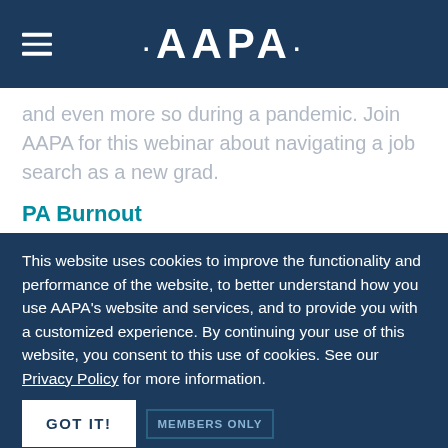AAPA
and even more so during a pandemic. Join AAPA for this webinar about navigating a job search as a new grad.
PA Burnout
This website uses cookies to improve the functionality and performance of the website, to better understand how you use AAPA's website and services, and to provide you with a customized experience. By continuing your use of this website, you consent to this use of cookies. See our Privacy Policy for more information.
MEMBERS ONLY
GOT IT!
ARCOSTEP: Why Every Student Needs to Know This Alphabet Soup